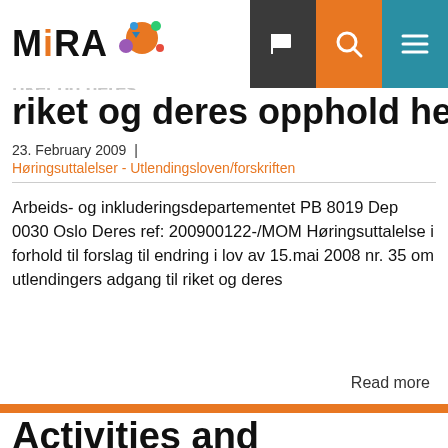MiRA
riket og deres opphold her
23. February 2009  |
Høringsuttalelser - Utlendingsloven/forskriften
Arbeids- og inkluderingsdepartementet PB 8019 Dep 0030 Oslo Deres ref: 200900122-/MOM Høringsuttalelse i forhold til forslag til endring i lov av 15.mai 2008 nr. 35 om utlendingers adgang til riket og deres
Read more
Activities and engagement